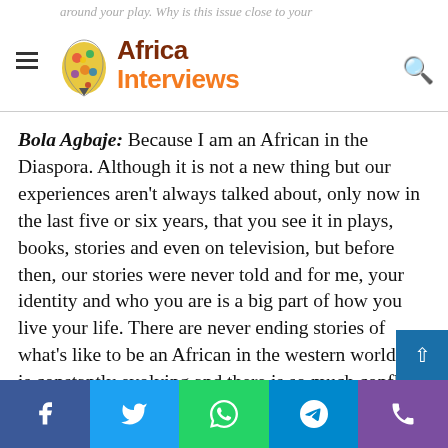Africa Interviews
around your play. Why is this issue close to your...
Bola Agbaje: Because I am an African in the Diaspora. Although it is not a new thing but our experiences aren't always talked about, only now in the last five or six years, that you see it in plays, books, stories and even on television, but before then, our stories were never told and for me, your identity and who you are is a big part of how you live your life. There are never ending stories of what's like to be an African in the western world. It is constantly evolving and there is so much conflict; it is a struggle and that is what makes great stories, the more conflict you have in a story, the more your story is interesting, wonderful and exciting.
Facebook Twitter WhatsApp Telegram Phone